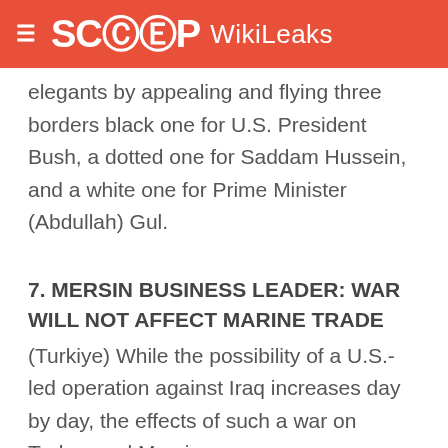SCOOP WikiLeaks
elegants by appealing and flying three borders black one for U.S. President Bush, a dotted one for Saddam Hussein, and a white one for Prime Minister (Abdullah) Gul.
7. MERSIN BUSINESS LEADER: WAR WILL NOT AFFECT MARINE TRADE
(Turkiye) While the possibility of a U.S.-led operation against Iraq increases day by day, the effects of such a war on Turkey and Mersin cause concerns, Cihad Lokmanoglu, President of the Mersin Chamber of Marine, noted. The Mersin Port had already lost all, over a period of ten years since